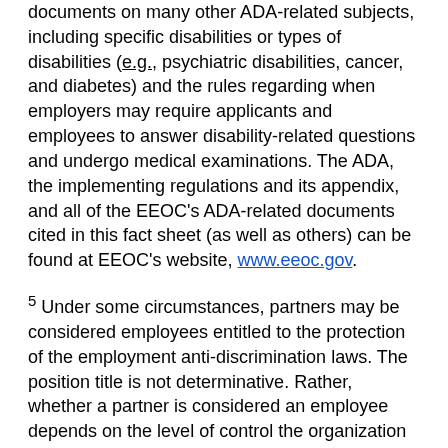documents on many other ADA-related subjects, including specific disabilities or types of disabilities (e.g., psychiatric disabilities, cancer, and diabetes) and the rules regarding when employers may require applicants and employees to answer disability-related questions and undergo medical examinations. The ADA, the implementing regulations and its appendix, and all of the EEOC's ADA-related documents cited in this fact sheet (as well as others) can be found at EEOC's website, www.eeoc.gov.
5 Under some circumstances, partners may be considered employees entitled to the protection of the employment anti-discrimination laws. The position title is not determinative. Rather, whether a partner is considered an employee depends on the level of control the organization has over the partner. See Clackamas v. Gastroenterology Assocs, P.C. v. Wells, 538 U.S. 440, 448-51 (2003).